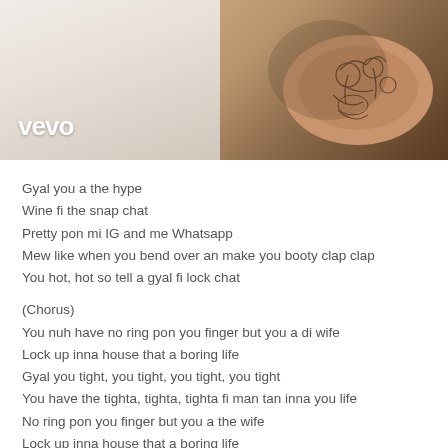[Figure (photo): Vevo video thumbnail showing a person with a tattoo on their arm, with the Vevo logo in the bottom left corner]
Gyal you a the hype
Wine fi the snap chat
Pretty pon mi IG and me Whatsapp
Mew like when you bend over an make you booty clap clap
You hot, hot so tell a gyal fi lock chat
(Chorus)
You nuh have no ring pon you finger but you a di wife
Lock up inna house that a boring life
Gyal you tight, you tight, you tight, you tight
You have the tighta, tighta, tighta fi man tan inna you life
No ring pon you finger but you a the wife
Lock up inna house that a boring life